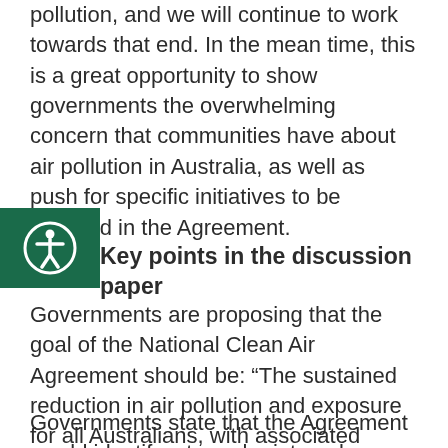pollution, and we will continue to work towards that end. In the mean time, this is a great opportunity to show governments the overwhelming concern that communities have about air pollution in Australia, as well as push for specific initiatives to be included in the Agreement.
Key points in the discussion paper
Governments are proposing that the goal of the National Clean Air Agreement should be: “The sustained reduction in air pollution and exposure for all Australians, with associated health, environmental and economic benefits.”
Governments state that the Agreement would identify, at regular intervals, which air pollution issues are of most concern in Australia; and